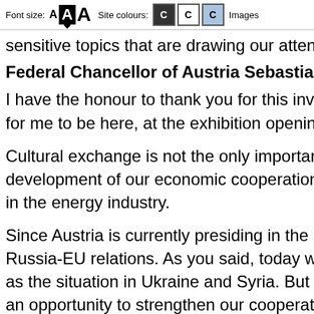Font size: A A A   Site colours: C C C   Images
sensitive topics that are drawing our attention in th
Federal Chancellor of Austria Sebastian Kurz (
I have the honour to thank you for this invitation to... for me to be here, at the exhibition opening in St P
Cultural exchange is not the only important aspect... development of our economic cooperation. I am h... in the energy industry.
Since Austria is currently presiding in the Council o... Russia-EU relations. As you said, today we will sp... as the situation in Ukraine and Syria. But we hope... an opportunity to strengthen our cooperation as it
I am also delighted to have this opportunity to di...